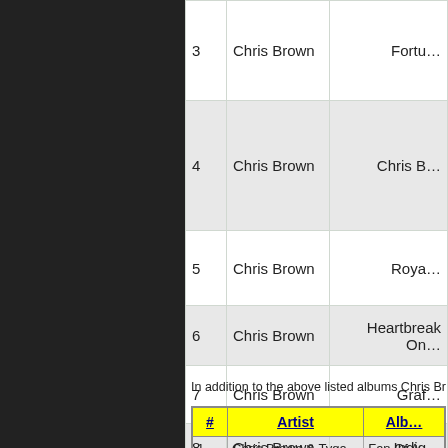| # | Artist | Album |
| --- | --- | --- |
| 3 | Chris Brown | Fortu… |
| 4 | Chris Brown | Chris B… |
| 5 | Chris Brown | Roya… |
| 6 | Chris Brown | Heartbreak On… |
| 7 | Chris Brown | Graf… |
| 8 | Chris Brown | Indig… |
| 9 | Chris Brown | X |
In addition to the above listed albums Chris Br…
| # | Artist | Alb… |
| --- | --- | --- |
| 1 | Chris Brown & Tyga | Fan Of A… |